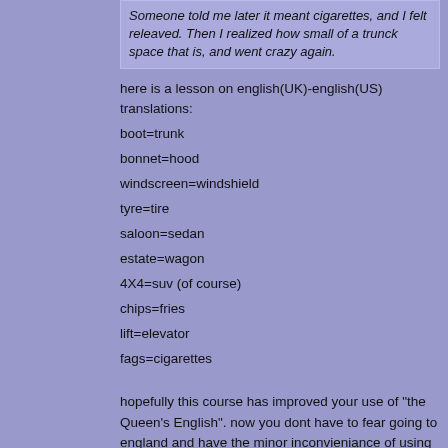Someone told me later it meant cigarettes, and I felt releaved. Then I realized how small of a trunck space that is, and went crazy again.
here is a lesson on english(UK)-english(US) translations:
boot=trunk
bonnet=hood
windscreen=windshield
tyre=tire
saloon=sedan
estate=wagon
4X4=suv (of course)
chips=fries
lift=elevator
fags=cigarettes
hopefully this course has improved your use of "the Queen's English". now you dont have to fear going to england and have the minor inconvieniance of using the wrong word.
Currently:
1998 BMW 328is black/black coupe 5MT
[Figure (photo): A dark/black artistic photo of a BMW car with glowing edge-detected outlines. Watermark text 'Porscheguy9999' at top left and 'photobucket' at bottom right.]